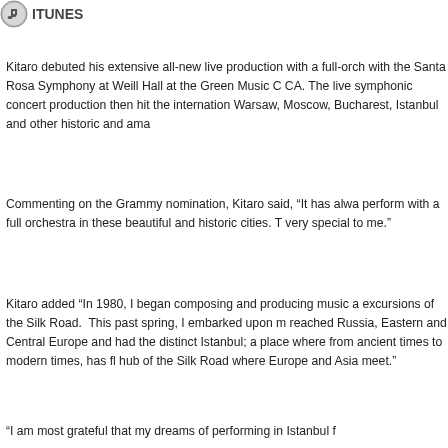[Figure (logo): iTunes logo icon in top left corner]
Kitaro debuted his extensive all-new live production with a full-orchestra with the Santa Rosa Symphony at Weill Hall at the Green Music C CA. The live symphonic concert production then hit the internation Warsaw, Moscow, Bucharest, Istanbul and other historic and ama
Commenting on the Grammy nomination, Kitaro said, “It has alwa perform with a full orchestra in these beautiful and historic cities. T very special to me.”
Kitaro added “In 1980, I began composing and producing music a excursions of the Silk Road. This past spring, I embarked upon m reached Russia, Eastern and Central Europe and had the distinct Istanbul; a place where from ancient times to modern times, has fl hub of the Silk Road where Europe and Asia meet.”
“I am most grateful that my dreams of performing in Istanbul f